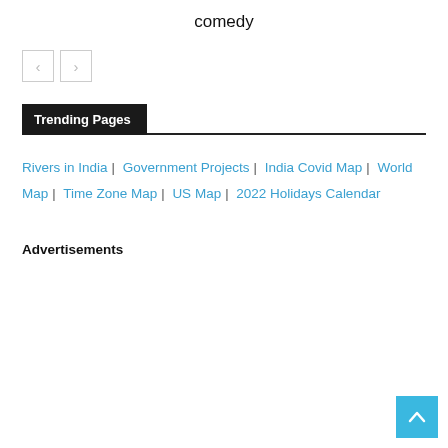comedy
[Figure (other): Navigation buttons: left arrow and right arrow in bordered boxes]
Trending Pages
Rivers in India | Government Projects | India Covid Map | World Map | Time Zone Map | US Map | 2022 Holidays Calendar
Advertisements
[Figure (other): Back to top arrow button in blue square at bottom right]